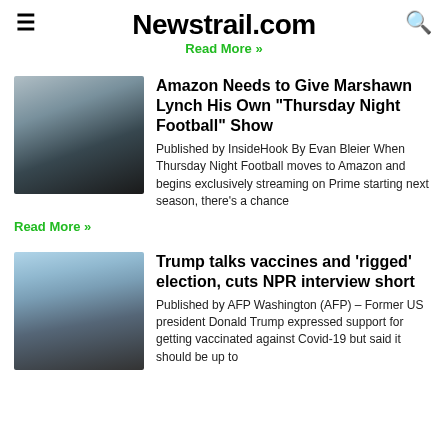Newstrail.com
Read More »
Amazon Needs to Give Marshawn Lynch His Own “Thursday Night Football” Show
Published by InsideHook By Evan Bleier When Thursday Night Football moves to Amazon and begins exclusively streaming on Prime starting next season, there's a chance
Read More »
Trump talks vaccines and ‘rigged’ election, cuts NPR interview short
Published by AFP Washington (AFP) – Former US president Donald Trump expressed support for getting vaccinated against Covid-19 but said it should be up to